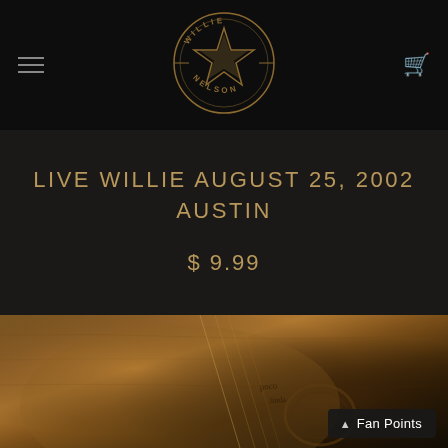[Figure (logo): Willie Nelson circular logo with star in center, text reads WILLIE NELSON around the star, decorative design on dark background]
LIVE WILLIE AUGUST 25, 2002 AUSTIN
$ 9.99
[Figure (photo): Close-up photo of a worn acoustic guitar with handwritten signatures on the body, warm brown tones, partial view of guitar strings and soundhole]
Fan Points